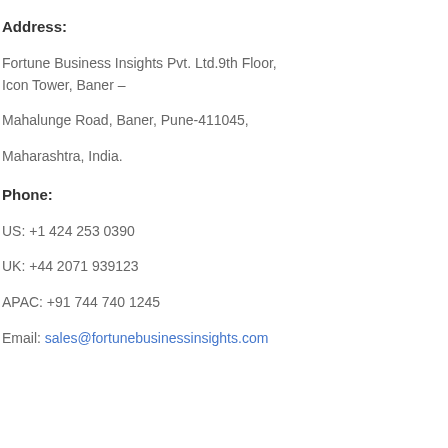Address:
Fortune Business Insights Pvt. Ltd.9th Floor,
Icon Tower, Baner –
Mahalunge Road, Baner, Pune-411045,
Maharashtra, India.
Phone:
US: +1 424 253 0390
UK: +44 2071 939123
APAC: +91 744 740 1245
Email: sales@fortunebusinessinsights.com